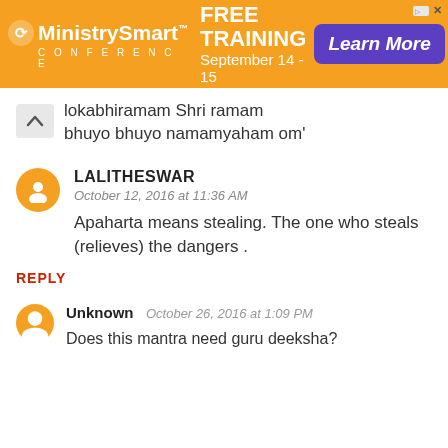[Figure (screenshot): MinistrySmart Conference advertisement banner with orange background. Shows logo, 'FREE TRAINING September 14-15' text, and a 'Learn More' purple button.]
lokabhiramam Shri ramam bhuyo bhuyo namamyaham om'
LALITHESWAR
October 12, 2016 at 11:36 AM
Apaharta means stealing. The one who steals (relieves) the dangers .
REPLY
Unknown  October 26, 2016 at 1:09 PM
Does this mantra need guru deeksha?